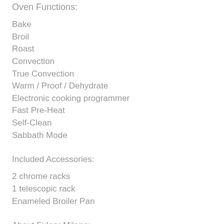Oven Functions:
Bake
Broil
Roast
Convection
True Convection
Warm / Proof / Dehydrate
Electronic cooking programmer
Fast Pre-Heat
Self-Clean
Sabbath Mode
Included Accessories:
2 chrome racks
1 telescopic rack
Enameled Broiler Pan
About Fulgor Milano: